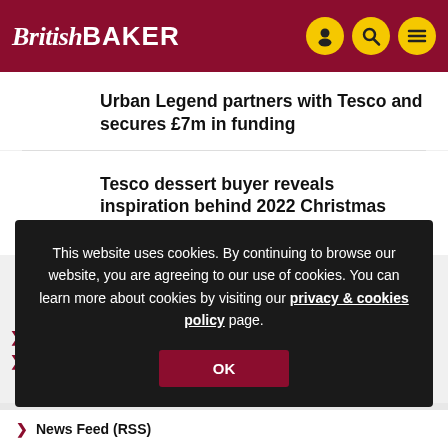British Baker
Urban Legend partners with Tesco and secures £7m in funding
Tesco dessert buyer reveals inspiration behind 2022 Christmas range
This website uses cookies. By continuing to browse our website, you are agreeing to our use of cookies. You can learn more about cookies by visiting our privacy & cookies policy page.
OK
News Feed (RSS)